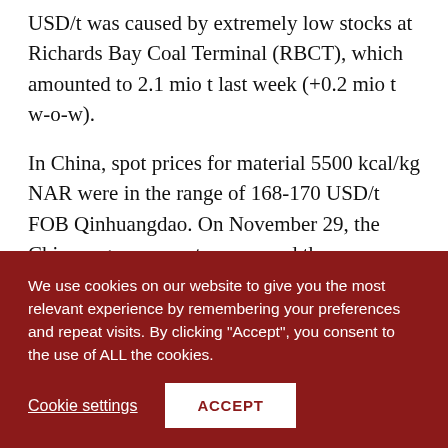USD/t was caused by extremely low stocks at Richards Bay Coal Terminal (RBCT), which amounted to 2.1 mio t last week (+0.2 mio t w-o-w).
In China, spot prices for material 5500 kcal/kg NAR were in the range of 168-170 USD/t FOB Qinhuangdao. On November 29, the Chinese government announced the suspension of operations at a number of mines in the leading coal mining province of Shanxi due to exceeding the permitted level of mining...
We use cookies on our website to give you the most relevant experience by remembering your preferences and repeat visits. By clicking "Accept", you consent to the use of ALL the cookies.
Cookie settings | ACCEPT